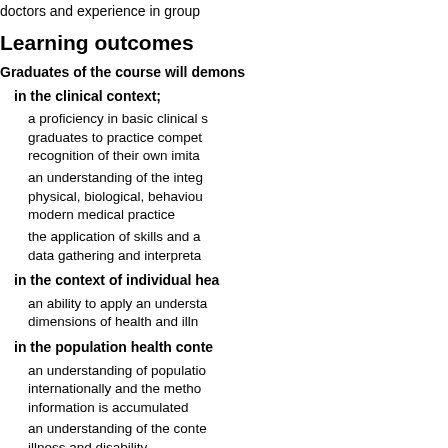doctors and experience in group
Learning outcomes
Graduates of the course will demons
in the clinical context;
a proficiency in basic clinical ... graduates to practice compet... recognition of their own imita...
an understanding of the integ... physical, biological, behaviou... modern medical practice
the application of skills and a... data gathering and interpreta...
in the context of individual hea...
an ability to apply an understa... dimensions of health and illn...
in the population health conte...
an understanding of populatio... internationally and the metho... information is accumulated
an understanding of the conte... illness and disability